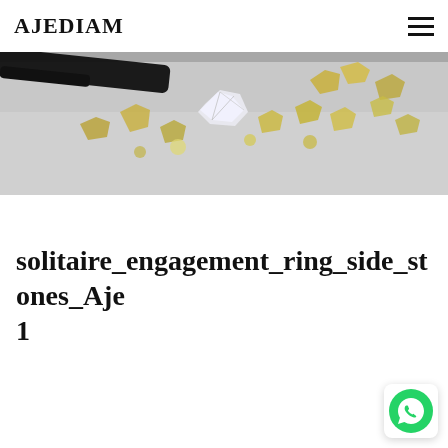AJEDIAM
[Figure (photo): Close-up photo of multiple rough and cut diamonds of various colors (white, yellow, green-yellow) scattered on a grey surface, with black tweezers/tool at the top left corner.]
solitaire_engagement_ring_side_stones_Aje 1